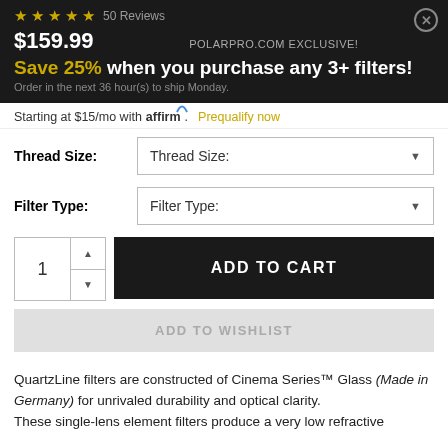★★★★★ 50 Reviews
$159.99  POLARPRO.COM EXCLUSIVE!
Save 25% when you purchase any 3+ filters!
Order in the next 36 hour(s) to ship Monday.
Starting at $15/mo with affirm. Prequalify now
Thread Size:
Filter Type:
ADD TO CART
ADD TO WISHLIST
QuartzLine filters are constructed of Cinema Series™ Glass (Made in Germany) for unrivaled durability and optical clarity. These single-lens element filters produce a very low refractive